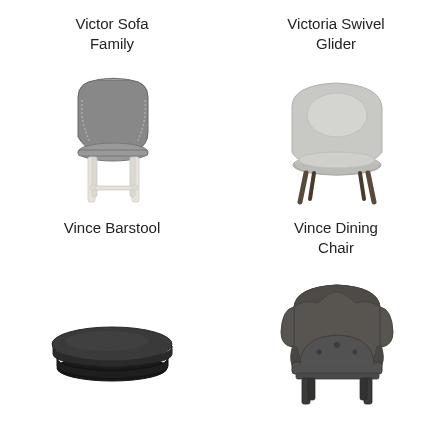[Figure (illustration): Victor Sofa Family - label text at top left quadrant]
Victor Sofa Family
[Figure (illustration): Victoria Swivel Glider - label text at top right quadrant]
Victoria Swivel Glider
[Figure (illustration): Vince Barstool - a tall bar stool with gray upholstered seat and white legs]
Vince Barstool
[Figure (illustration): Vince Dining Chair - a barrel-back dining chair with gray upholstery and dark wood legs]
Vince Dining Chair
[Figure (illustration): Round dark ottoman in bottom left quadrant]
[Figure (illustration): Dark gray wingback accent chair in bottom right quadrant]